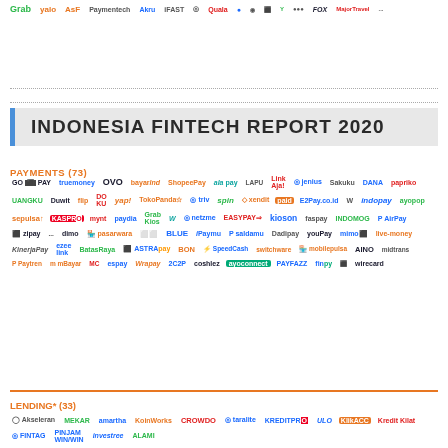[Figure (illustration): Top portion showing fintech company logos arranged in rows including Grab, Yalo, Alku, iFAST, Quala, and many others in two columns]
INDONESIA FINTECH REPORT 2020
PAYMENTS (73)
GO PAY, truemoney, OVO, bayarInd, ShopeePay, ala pay, LAPJ, LinkAja!, jenius, Sakuku, DANA, papriko, UANGKU, Duwit, Flip, DO KU, yap!, TokoPanda, triv, spin, xendit, E2Pay.co.id, indopay, ayopop, sepulsa, KASPRO, mynt, paydia, GrabKios, W, netzme, EASYPAY, kioson, faspay, INDOMO, AirPay, zipay, dimo, pasarwara, BLUE, iPaymu, saldamu, Dadipay, youPay, mimeS, live-money, KinerjaPay, ezeeLINK, BatasRaya, ASTRA, BON, SpeedCash, switchware, mobilepulsa, AINO, midtrans, Paytren, mBayar, espay, Wrapay, 2C2P, coshlez, ayoconnect, PAYFAZZ, finpy, wirecard
LENDING* (33)
Akseleran, MEKAR, amartha, KoinWorks, CROWDO, taralite, KREDITPRO, ULO, KlikACC, Kredit Kilat, FINTAG, PINJAM WIN/WIN, investree, ALAMI